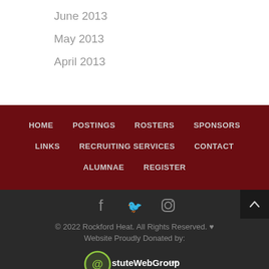June 2013
May 2013
April 2013
HOME  POSTINGS  ROSTERS  SPONSORS  LINKS  RECRUITING SERVICES  CONTACT  ALUMNAE  REGISTER
© 2022 Rockford Heat. All Rights Reserved. ♥  Website Proudly Donated by: AstuteWebGroup.com Think Better...